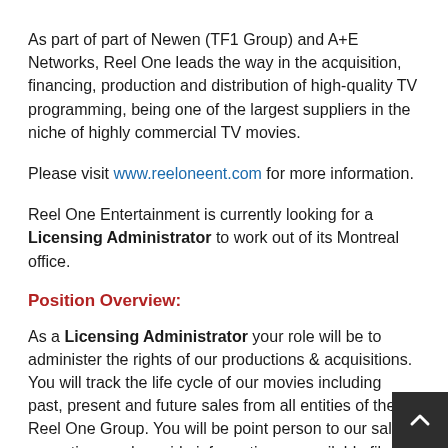As part of part of Newen (TF1 Group) and A+E Networks, Reel One leads the way in the acquisition, financing, production and distribution of high-quality TV programming, being one of the largest suppliers in the niche of highly commercial TV movies.
Please visit www.reeloneent.com for more information.
Reel One Entertainment is currently looking for a Licensing Administrator to work out of its Montreal office.
Position Overview:
As a Licensing Administrator your role will be to administer the rights of our productions & acquisitions. You will track the life cycle of our movies including past, present and future sales from all entities of the Reel One Group. You will be point person to our sales executives and provide information on available film rights. You will draft new sales agreements & negotiate deal terms as necessary with our clients. You will keep our Rights Management software (Filmtrack) up to date on new sales and acquired projects. You will conduct due diligence on any new...